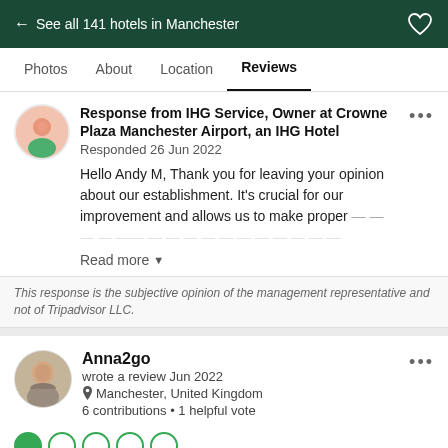← See all 141 hotels in Manchester
Photos  About  Location  Reviews
Response from IHG Service, Owner at Crowne Plaza Manchester Airport, an IHG Hotel
Responded 26 Jun 2022
Hello Andy M, Thank you for leaving your opinion about our establishment. It's crucial for our improvement and allows us to make proper
Read more
This response is the subjective opinion of the management representative and not of Tripadvisor LLC.
Anna2go
wrote a review Jun 2022
Manchester, United Kingdom
6 contributions • 1 helpful vote
Beware before you book!